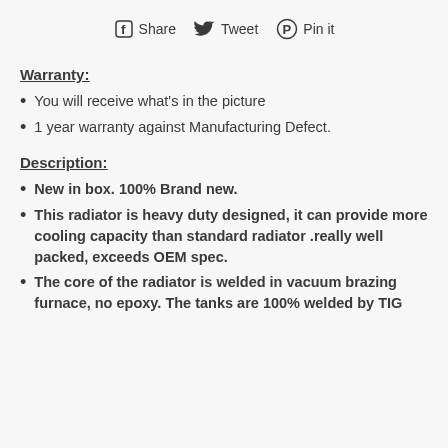[Figure (infographic): Social sharing bar with Facebook Share, Twitter Tweet, and Pinterest Pin it icons]
Warranty:
You will receive what's in the picture
1 year warranty against Manufacturing Defect.
Description:
New in box. 100% Brand new.
This radiator is heavy duty designed, it can provide more cooling capacity than standard radiator .really well packed, exceeds OEM spec.
The core of the radiator is welded in vacuum brazing furnace, no epoxy. The tanks are 100% welded by TIG